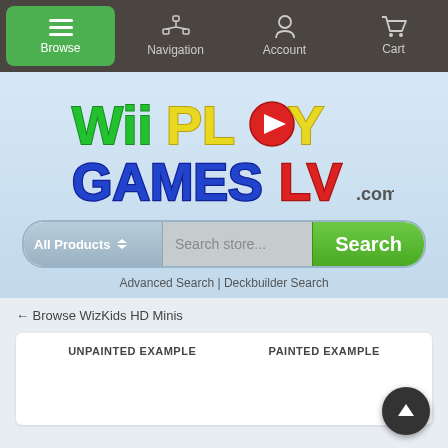Browse | Navigation | Account | Cart
[Figure (logo): Wii Play Games LV .com logo with colorful stylized text]
All Products ▲▼  Search store...  Search
Advanced Search | Deckbuilder Search
← Browse WizKids HD Minis
UNPAINTED EXAMPLE    PAINTED EXAMPLE